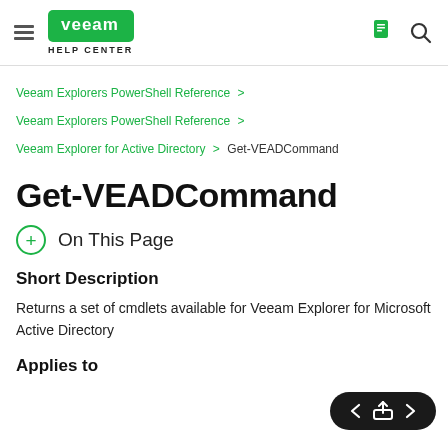Veeam Help Center
Veeam Explorers PowerShell Reference > Veeam Explorers PowerShell Reference > Veeam Explorer for Active Directory > Get-VEADCommand
Get-VEADCommand
On This Page
Short Description
Returns a set of cmdlets available for Veeam Explorer for Microsoft Active Directory
Applies to